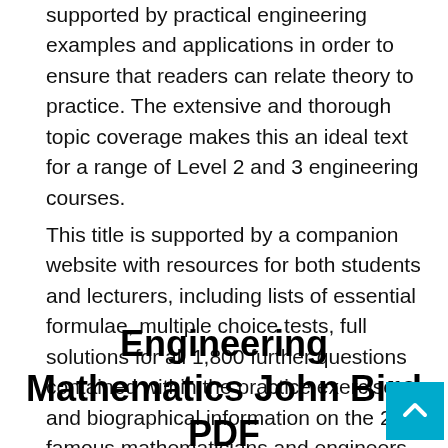supported by practical engineering examples and applications in order to ensure that readers can relate theory to practice. The extensive and thorough topic coverage makes this an ideal text for a range of Level 2 and 3 engineering courses.
This title is supported by a companion website with resources for both students and lecturers, including lists of essential formulae, multiple choice tests, full solutions for all 1,800 further questions contained within the practice exercises, and biographical information on the 24 famous mathematicians and engineers referenced throughout the book.
Engineering Mathematics John Bird PDF